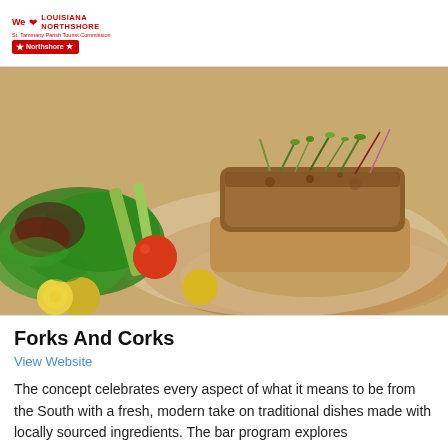We ♥ LOUISIANA NORTHSHORE St. Tammany Parish Tourist Commission Northshore
[Figure (photo): Close-up food photography of a crab cake served on a cream sauce with fresh mixed greens salad, cherry tomatoes, and celery sticks on a white plate.]
Forks And Corks
View Website
The concept celebrates every aspect of what it means to be from the South with a fresh, modern take on traditional dishes made with locally sourced ingredients. The bar program explores the...